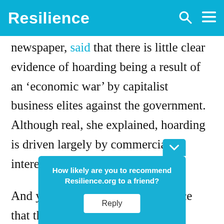Resilience
newspaper, said that there is little clear evidence of hoarding being a result of an ‘economic war’ by capitalist business elites against the government. Although real, she explained, hoarding is driven largely by commercial interests in survival.
And yet, there is mounting evidence that the Maduro government is com[plicit] in not just ho[arding, but the diversion ou]t of public[ly subsidized goods out] of
[Figure (screenshot): Popup widget asking 'How likely are you to recommend Resilience.org to a friend?' with a Reply button, in teal/cyan color]